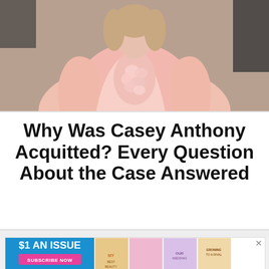[Figure (photo): A person wearing a pink satin blazer/jacket with ruffled embellishments on the front, photographed from the torso up against a dark background.]
Why Was Casey Anthony Acquitted? Every Question About the Case Answered
[Figure (infographic): Advertisement banner showing '$1 AN ISSUE SUBSCRIBE NOW' with magazine cover images in pink/blue color scheme.]